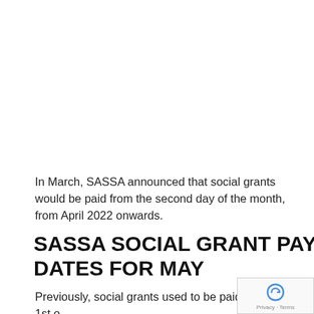In March, SASSA announced that social grants would be paid from the second day of the month, from April 2022 onwards.
SASSA SOCIAL GRANT PAYMENT DATES FOR MAY
Previously, social grants used to be paid on the 1st o...